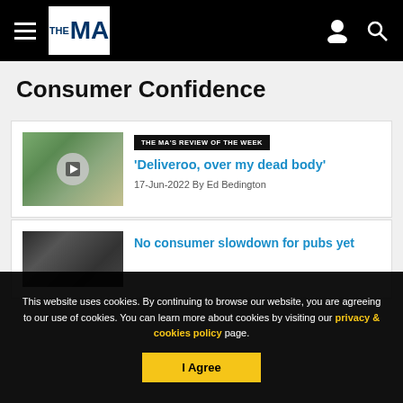THE MA — navigation header with hamburger menu, logo, user icon, search icon
Consumer Confidence
[Figure (screenshot): Article card with thumbnail showing a woman, with video play icon. Badge: THE MA'S REVIEW OF THE WEEK. Headline: 'Deliveroo, over my dead body'. Date and author: 17-Jun-2022 By Ed Bedington]
[Figure (screenshot): Article card with dark thumbnail image. Headline: No consumer slowdown for pubs yet]
This website uses cookies. By continuing to browse our website, you are agreeing to our use of cookies. You can learn more about cookies by visiting our privacy & cookies policy page.